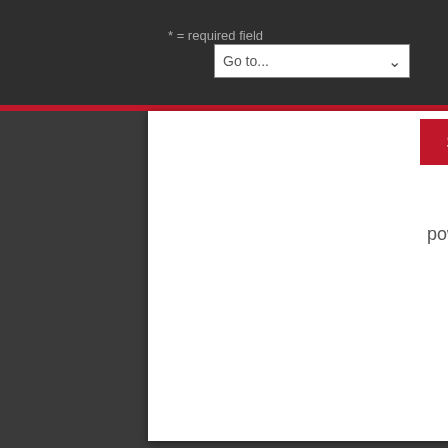* = required field
Go to...
Subscribe
powered by MailChimp!